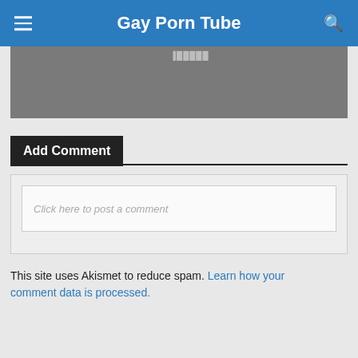Gay Porn Tube
[Figure (screenshot): Gray image area with faint text overlay]
Add Comment
Click here to post a comment
This site uses Akismet to reduce spam. Learn how your comment data is processed.